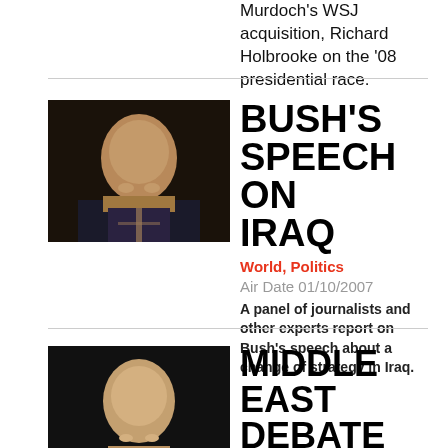Murdoch's WSJ acquisition, Richard Holbrooke on the '08 presidential race.
[Figure (photo): Headshot of a man in a dark suit and tie against a dark background]
BUSH'S SPEECH ON IRAQ
World, Politics
Air Date 01/10/2007
A panel of journalists and other experts report on Bush's speech about a change of strategy in Iraq.
[Figure (photo): Headshot of a man in a suit against a dark background]
MIDDLE EAST DEBATE
Politics
Air Date 08/11/2006